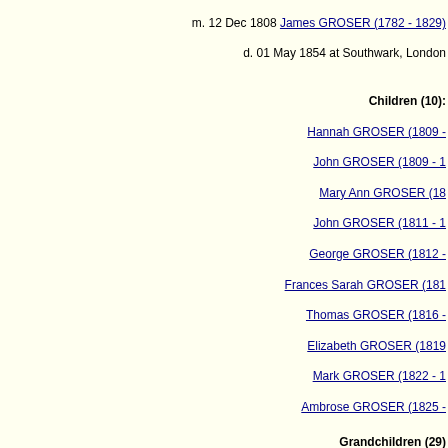m. 12 Dec 1808 James GROSER (1782 - 1829)  d. 01 May 1854 at Southwark, London
Children (10): Hannah GROSER (1809 - ), John GROSER (1809 - 1), Mary Ann GROSER (18...), John GROSER (1811 - 1), George GROSER (1812 - ), Frances Sarah GROSER (181...), Thomas GROSER (1816 - ), Elizabeth GROSER (1819 - ), Mark GROSER (1822 - 1), Ambrose GROSER (1825 - )
Grandchildren (29): Arthur CASTLE, Emma CASTLE (1832 - ), Eliza CASTLE (1838 - ), Lucy CASTLE (1840 - 1903), Robe... (1841 - 1844), Emma Mary Ann GROSER (1842 - 1849), George James GROSER (1843 - 1844), Ellen GRO... - 1854), Frances Julia GROSER (1852 - 1853), Mark Alfred GROSER (1854 - 1923), Mary Ann GROSER (...), GROSER (1848 - 1919), Ellen GROSER (1851 - 1934), James GROSER (1854 - 1922), Alfred GROSER (...), Robert MIDDLETON (1857 - ), Mary Ann MIDDLETON (1860 - 1861), Eliza GROSER (1854 - 1854), K..., GROSER (1860 - 186...)
| Date | Age | Event | Place |
| --- | --- | --- | --- |
| 1780 |  | Frances HERROD was born |  |
| 12 Dec 1808 | 28 | Married James GROSER (aged 26) | Gravesend, Kent, England |
| 24 May 1809 | 29 | Birth of daughter Hannah GROSER | Grays, Essex, England |
| 24 May 1809 | 29 | Birth of son John GROSER | Grays, Essex, England |
| 24 Dec 1809 | 29 | Death of son John GROSER | Grays, Essex, England |